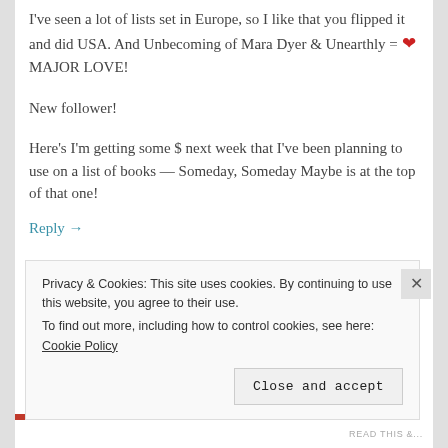I've seen a lot of lists set in Europe, so I like that you flipped it and did USA. And Unbecoming of Mara Dyer & Unearthly = ❤ MAJOR LOVE!
New follower!
Here's I'm getting some $ next week that I've been planning to use on a list of books — Someday, Someday Maybe is at the top of that one!
Reply →
Privacy & Cookies: This site uses cookies. By continuing to use this website, you agree to their use. To find out more, including how to control cookies, see here: Cookie Policy
Close and accept